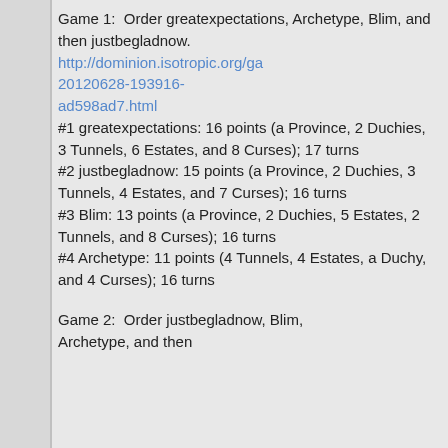Game 1:  Order greatexpectations, Archetype, Blim, and then justbegladnow. http://dominion.isotropic.org/ga20120628-193916-ad598ad7.html #1 greatexpectations: 16 points (a Province, 2 Duchies, 3 Tunnels, 6 Estates, and 8 Curses); 17 turns #2 justbegladnow: 15 points (a Province, 2 Duchies, 3 Tunnels, 4 Estates, and 7 Curses); 16 turns #3 Blim: 13 points (a Province, 2 Duchies, 5 Estates, 2 Tunnels, and 8 Curses); 16 turns #4 Archetype: 11 points (4 Tunnels, 4 Estates, a Duchy, and 4 Curses); 16 turns
Game 2:  Order justbegladnow, Blim, Archetype, and then...